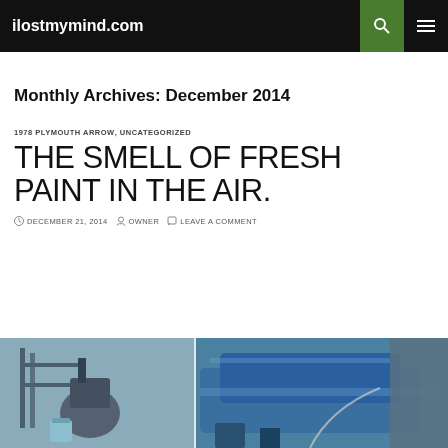ilostmymind.com
Monthly Archives: December 2014
1978 PLYMOUTH ARROW, UNCATEGORIZED
THE SMELL OF FRESH PAINT IN THE AIR.
DECEMBER 21, 2014  OWNER  LEAVE A COMMENT
[Figure (photo): Photo of a car being painted in a garage/workshop, showing painting equipment and a blue car body]